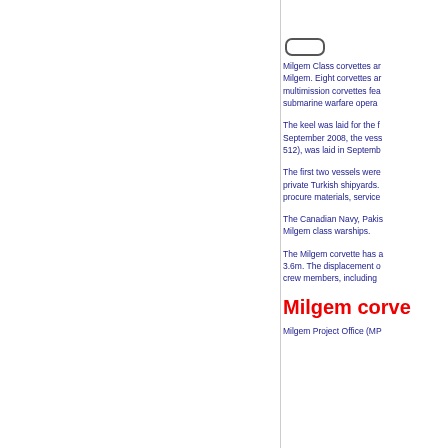[Figure (other): Small pill/capsule shaped icon or button]
Milgem Class corvettes are... Milgem. Eight corvettes are... multimission corvettes fea... submarine warfare opera...
The keel was laid for the f... September 2008, the vess... 512), was laid in Septemb...
The first two vessels were... private Turkish shipyards.... procure materials, service...
The Canadian Navy, Pakis... Milgem class warships.
The Milgem corvette has a... 3.6m. The displacement o... crew members, including...
Milgem corve
Milgem Project Office (MP...